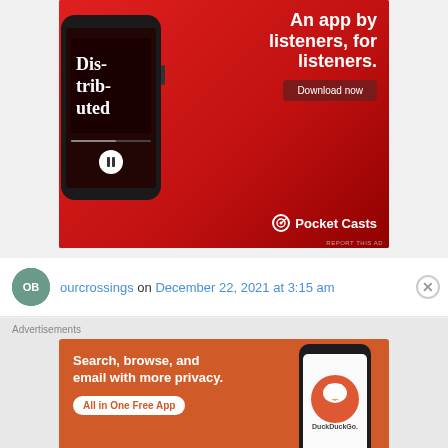[Figure (advertisement): Pocket Casts app advertisement on red background. Shows a smartphone with a podcast app playing 'Distributed'. Text reads 'An app by listeners, for listeners.' with a 'Download now' button and Pocket Casts logo.]
ourcrossings on December 22, 2021 at 3:15 am
Advertisements
[Figure (advertisement): DuckDuckGo advertisement on orange/red background. Text reads 'Search, browse, and email with more privacy. All in One Free App' with a DuckDuckGo logo on a phone mockup.]